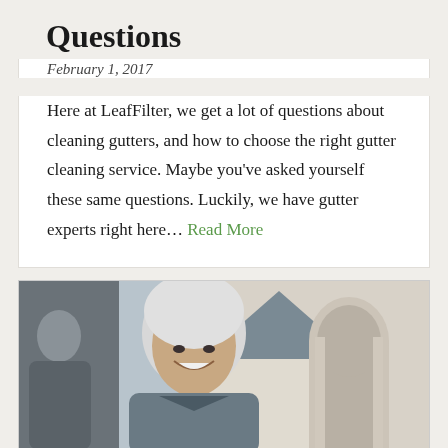Questions
February 1, 2017
Here at LeafFilter, we get a lot of questions about cleaning gutters, and how to choose the right gutter cleaning service. Maybe you've asked yourself these same questions. Luckily, we have gutter experts right here… Read More
[Figure (photo): An older woman with white hair smiling in the foreground, with a man partially visible behind her and a house with an arched entryway in the background.]